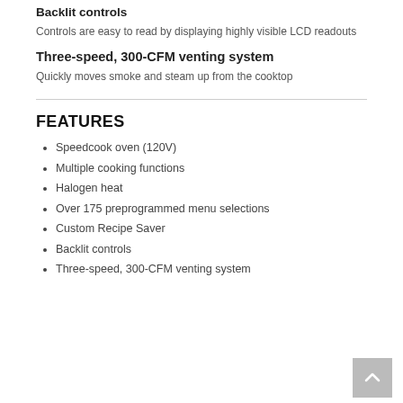Backlit controls
Controls are easy to read by displaying highly visible LCD readouts
Three-speed, 300-CFM venting system
Quickly moves smoke and steam up from the cooktop
FEATURES
Speedcook oven (120V)
Multiple cooking functions
Halogen heat
Over 175 preprogrammed menu selections
Custom Recipe Saver
Backlit controls
Three-speed, 300-CFM venting system